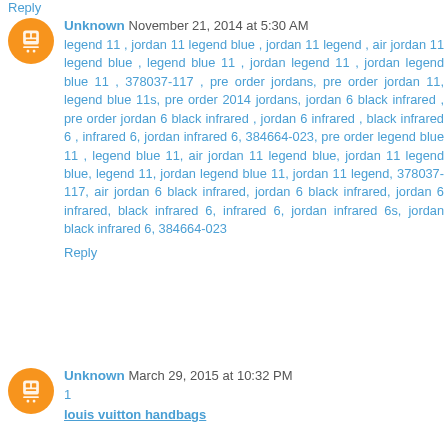Reply
Unknown  November 21, 2014 at 5:30 AM
legend 11 , jordan 11 legend blue , jordan 11 legend , air jordan 11 legend blue , legend blue 11 , jordan legend 11 , jordan legend blue 11 , 378037-117 , pre order jordans, pre order jordan 11, legend blue 11s, pre order 2014 jordans, jordan 6 black infrared , pre order jordan 6 black infrared , jordan 6 infrared , black infrared 6 , infrared 6, jordan infrared 6, 384664-023, pre order legend blue 11 , legend blue 11, air jordan 11 legend blue, jordan 11 legend blue, legend 11, jordan legend blue 11, jordan 11 legend, 378037-117, air jordan 6 black infrared, jordan 6 black infrared, jordan 6 infrared, black infrared 6, infrared 6, jordan infrared 6s, jordan black infrared 6, 384664-023
Reply
Unknown  March 29, 2015 at 10:32 PM
1
louis vuitton handbags